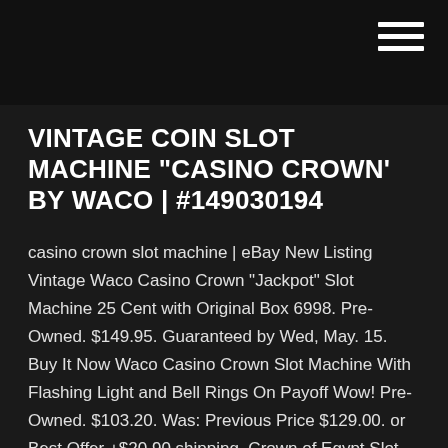[Figure (other): Hamburger menu icon (three horizontal white lines) in top-right corner of dark navigation bar]
VINTAGE COIN SLOT MACHINE "CASINO CROWN' BY WACO | #149030194
casino crown slot machine | eBay New Listing Vintage Waco Casino Crown "Jackpot" Slot Machine 25 Cent with Original Box 6998. Pre-Owned. $149.95. Guaranteed by Wed, May. 15. Buy It Now Waco Casino Crown Slot Machine With Flashing Light and Bell Rings On Payoff Wow! Pre-Owned. $103.20. Was: Previous Price $129.00. or Best Offer +$20.90 shipping. Crown of Egypt Slot Machine - penny-slot-machines.com Crown of Egypt is an online slot machine made by IGT, that takes you to Ancient Egypt where you can achieve wins across a 5x4 layout in staggering 1,024 ways. High-value symbols are represented by Cleopatra (we all